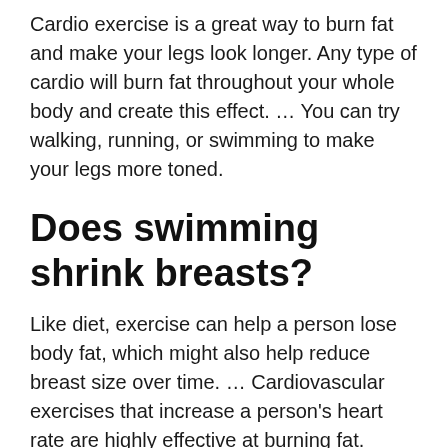Cardio exercise is a great way to burn fat and make your legs look longer. Any type of cardio will burn fat throughout your whole body and create this effect. … You can try walking, running, or swimming to make your legs more toned.
Does swimming shrink breasts?
Like diet, exercise can help a person lose body fat, which might also help reduce breast size over time. … Cardiovascular exercises that increase a person's heart rate are highly effective at burning fat. Depending on health and fitness factors, people can try running, swimming, or taking brisk walks.